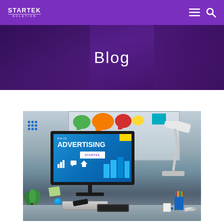STARTEK SOLUTION — navigation bar
Blog
[Figure (photo): A computer monitor on a desk displaying 'PAID ADVERTISING' text with a bar chart graphic, surrounded by colorful sticky notes and speech bubble decorations on a whiteboard background, with a desk lamp, plant, keyboard, pencils, and tablet on the desk surface.]